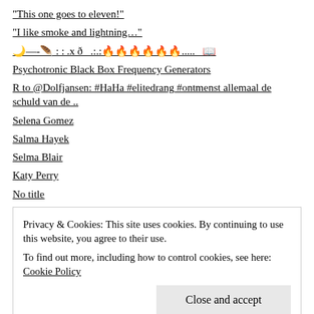“This one goes to eleven!”
“I like smoke and lightning…”
🌙—-🪶 : :  .x ð _.;.🔥🔥🔥🔥🔥🔥....._ 📖
Psychotronic Black Box Frequency Generators
R to @Dolfjansen: #HaHa #elitedrang #ontmenst allemaal de schuld van de ..
Selena Gomez
Salma Hayek
Selma Blair
Katy Perry
No title
de #gaskraan is open
Photo
Privacy & Cookies: This site uses cookies. By continuing to use this website, you agree to their use. To find out more, including how to control cookies, see here: Cookie Policy
Hailee Steinfeld